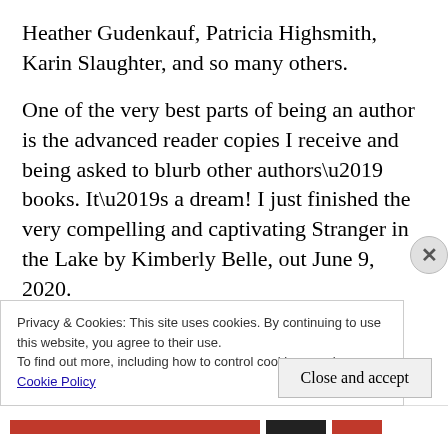Heather Gudenkauf, Patricia Highsmith, Karin Slaughter, and so many others.
One of the very best parts of being an author is the advanced reader copies I receive and being asked to blurb other authors’ books. It’s a dream! I just finished the very compelling and captivating Stranger in the Lake by Kimberly Belle, out June 9, 2020.
6) What has been your most significant
Privacy & Cookies: This site uses cookies. By continuing to use this website, you agree to their use.
To find out more, including how to control cookies, see here:
Cookie Policy
Close and accept